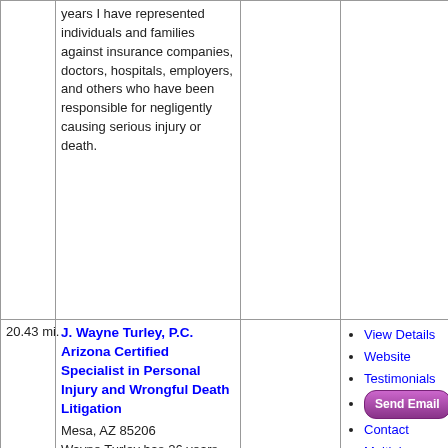| Distance | Firm / Attorney | Details | Actions |
| --- | --- | --- | --- |
|  | years I have represented individuals and families against insurance companies, doctors, hospitals, employers, and others who have been responsible for negligently causing serious injury or death. |  |  |
| 20.43 mi. | J. Wayne Turley, P.C. Arizona Certified Specialist in Personal Injury and Wrongful Death Litigation
Mesa, AZ 85206
Wayne Turley has 26 years |  | View Details
Website
Testimonials
Send Email
Contact Multiple |